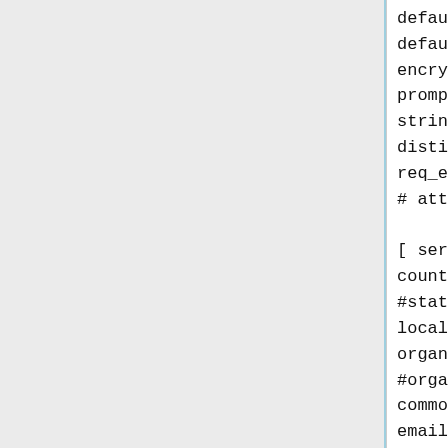default_bits          = 2048
default_md            = sha2
encrypt_key           = no
prompt                = no
string_mask           = utf8
distinguished_name    = serve
req_extensions        = req_c
# attributes          = re

[ server_distinguished_name ]
countryName           = NL
#stateOrProvinceName  = Utrec
localityName          = HomeT
organizationName      = My Or
#organizationalUnitName = My D
commonName            = vpnse
emailAddress          = hostm

[ req_cert_extensions ]
nsCertType            = serve
subjectAltName        = email
Create the server request and private key: